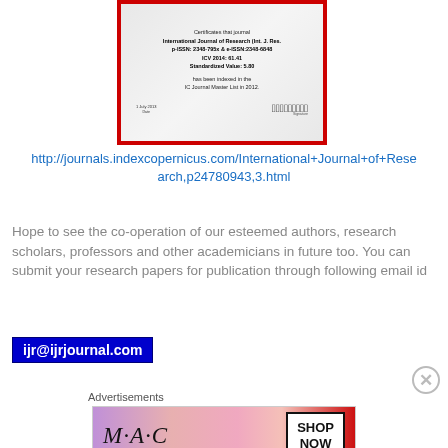[Figure (illustration): Certificate from IC Journal Master List showing International Journal of Research indexed in 2012, with red border, ICV 2014: 61.41, Standardized Value: 5.80, dated 1 July 2013 with signature]
http://journals.indexcopernicus.com/International+Journal+of+Research,p24780943,3.html
Hope to see the co-operation of our esteemed authors, research scholars, professors and other academicians in future too. You can submit your research papers for publication through following email id
ijr@ijrjournal.com
[Figure (illustration): MAC cosmetics advertisement banner with lipsticks and SHOP NOW button]
Advertisements